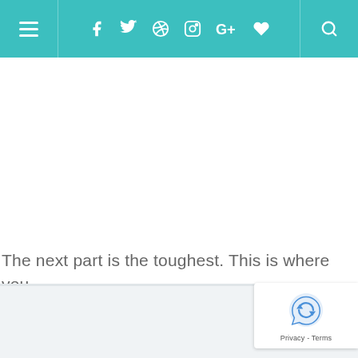Navigation bar with menu, social icons (Facebook, Twitter, Pinterest, Instagram, Google+, heart/favorites), and search
The next part is the toughest. This is where you. . . wait.
[Figure (other): reCAPTCHA badge with rotating arrow logo and Privacy - Terms text]